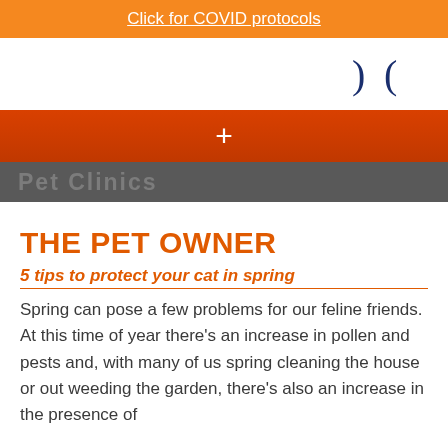Click for COVID protocols
[Figure (other): Navigation icons - two parenthesis-like moon/bracket shapes in dark blue on white background]
[Figure (other): Red/orange horizontal bar with white plus sign, overlaid on darker red gradient bar with partial gray navigation bar below showing faint text]
THE PET OWNER
5 tips to protect your cat in spring
Spring can pose a few problems for our feline friends. At this time of year there's an increase in pollen and pests and, with many of us spring cleaning the house or out weeding the garden, there's also an increase in the presence of